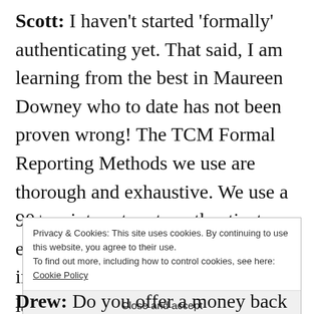Scott: I haven't started 'formally' authenticating yet. That said, I am learning from the best in Maureen Downey who to date has not been proven wrong! The TCM Formal Reporting Methods we use are thorough and exhaustive. We use a 90+ point system to authenticate each bottle, along with other inspection methods required in a laboratory.
Privacy & Cookies: This site uses cookies. By continuing to use this website, you agree to their use. To find out more, including how to control cookies, see here: Cookie Policy
Close and accept
Drew: Do you offer a money back guarantee – if